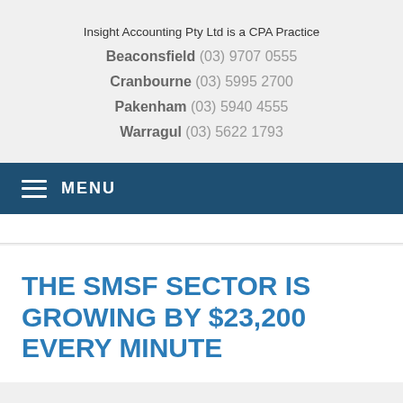Insight Accounting Pty Ltd is a CPA Practice
Beaconsfield (03) 9707 0555
Cranbourne (03) 5995 2700
Pakenham (03) 5940 4555
Warragul (03) 5622 1793
MENU
THE SMSF SECTOR IS GROWING BY $23,200 EVERY MINUTE